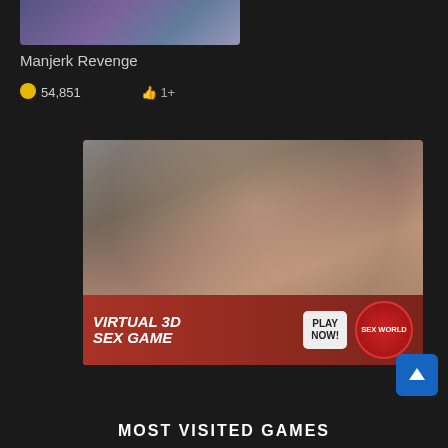[Figure (screenshot): Top portion of anime-style game thumbnail showing animated characters]
Manjerk Revenge
54,851  👍 1+
[Figure (photo): Advertisement banner for Virtual 3D Sex Game / Sex World featuring a play now button]
MOST VISITED GAMES